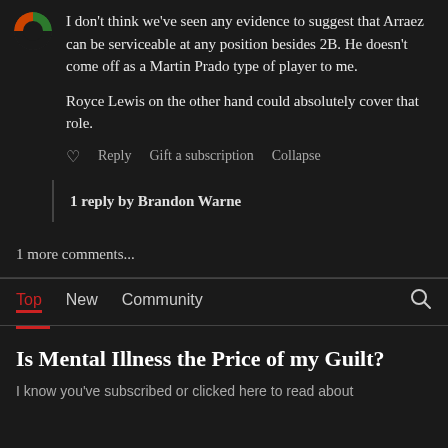I don't think we've seen any evidence to suggest that Arraez can be serviceable at any position besides 2B. He doesn't come off as a Martin Prado type of player to me.

Royce Lewis on the other hand could absolutely cover that role.
♡  Reply  Gift a subscription  Collapse
1 reply by Brandon Warne
1 more comments...
Top  New  Community
Is Mental Illness the Price of my Guilt?
I know you've subscribed or clicked here to read about